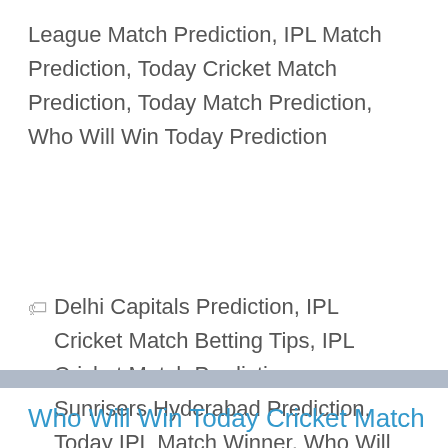League Match Prediction, IPL Match Prediction, Today Cricket Match Prediction, Today Match Prediction, Who Will Win Today Prediction
🏷 Delhi Capitals Prediction, IPL Cricket Match Betting Tips, IPL Cricket Match Prediction, Sunrisers Hyderabad Prediction, Today IPL Match Winner, Who Will Win Today IPL
Who Will Win Today Cricket Match